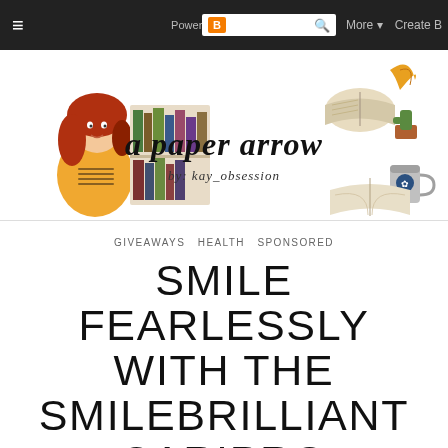Powered by Blogger. | More ▼ | Create B
[Figure (illustration): A Paper Arrow blog header banner with illustrated girl with red hair, colorful books on shelves, open books, leaves, cactus, coffee cup, and handwritten text 'a paper arrow by: kay_obsession']
GIVEAWAYS  HEALTH  SPONSORED
SMILE FEARLESSLY WITH THE SMILEBRILLIANT CARIPRO ULTRASONIC ELECTRONIC